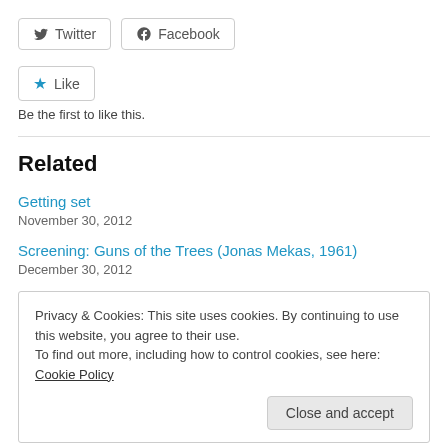[Figure (other): Twitter and Facebook share buttons]
[Figure (other): Like button with star icon]
Be the first to like this.
Related
Getting set
November 30, 2012
Screening: Guns of the Trees (Jonas Mekas, 1961)
December 30, 2012
Privacy & Cookies: This site uses cookies. By continuing to use this website, you agree to their use.
To find out more, including how to control cookies, see here: Cookie Policy
Close and accept